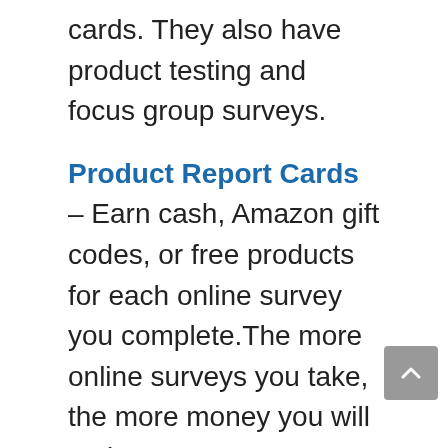cards. They also have product testing and focus group surveys.
Product Report Cards – Earn cash, Amazon gift codes, or free products for each online survey you complete.The more online surveys you take, the more money you will make.
SurveySavvy – a global survey panel with over 1.5 million registered members. SurveySavvy members provide feedback and opinion for companies and get paid cash for answering online and mobile surveys.